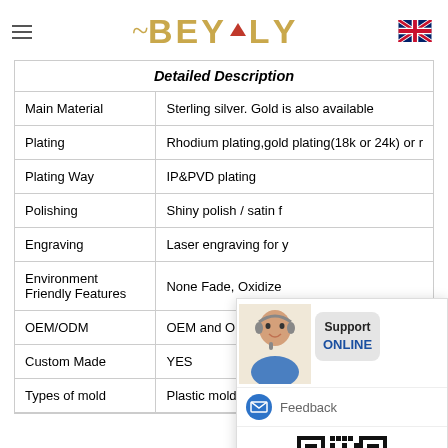BEYALY
|  | Detailed Description |
| --- | --- |
| Main Material | Sterling silver. Gold is also available |
| Plating | Rhodium plating,gold plating(18k or 24k) or r... |
| Plating Way | IP&PVD plating |
| Polishing | Shiny polish / satin f... |
| Engraving | Laser engraving for y... |
| Environment Friendly Features | None Fade, Oxidized... |
| OEM/ODM | OEM and ODM are a... |
| Custom Made | YES |
| Types of mold | Plastic mold / steel m... |
[Figure (screenshot): Customer support chat popup with agent photo, Support ONLINE bubble, Feedback link, QR code, close button, and Chat Online button]